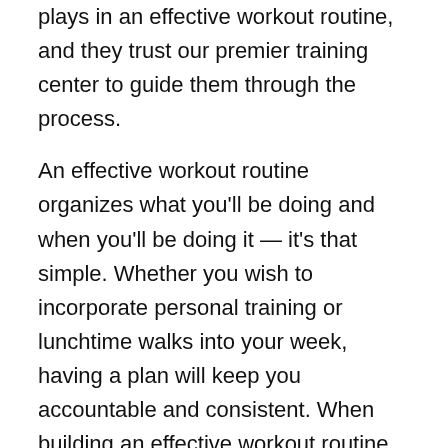plays in an effective workout routine, and they trust our premier training center to guide them through the process.
An effective workout routine organizes what you'll be doing and when you'll be doing it — it's that simple. Whether you wish to incorporate personal training or lunchtime walks into your week, having a plan will keep you accountable and consistent. When building an effective workout routine, consider these five questions:
#1: What Is My Goal?
Determining your fitness goal may give you the